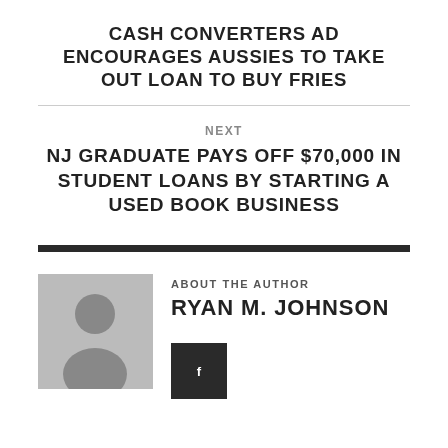CASH CONVERTERS AD ENCOURAGES AUSSIES TO TAKE OUT LOAN TO BUY FRIES
NEXT
NJ GRADUATE PAYS OFF $70,000 IN STUDENT LOANS BY STARTING A USED BOOK BUSINESS
ABOUT THE AUTHOR
RYAN M. JOHNSON
[Figure (other): Author avatar placeholder icon (grey silhouette of a person)]
[Figure (other): Dark social media icon button with a small white icon]